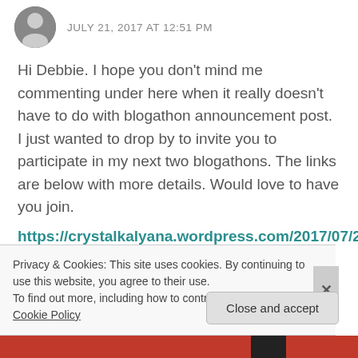JULY 21, 2017 AT 12:51 PM
Hi Debbie. I hope you don't mind me commenting under here when it really doesn't have to do with blogathon announcement post. I just wanted to drop by to invite you to participate in my next two blogathons. The links are below with more details. Would love to have you join.
https://crystalkalyana.wordpress.com/2017/07/20/announcing-the-spencer-tracy-katharine-hepburn-
Privacy & Cookies: This site uses cookies. By continuing to use this website, you agree to their use.
To find out more, including how to control cookies, see here: Cookie Policy